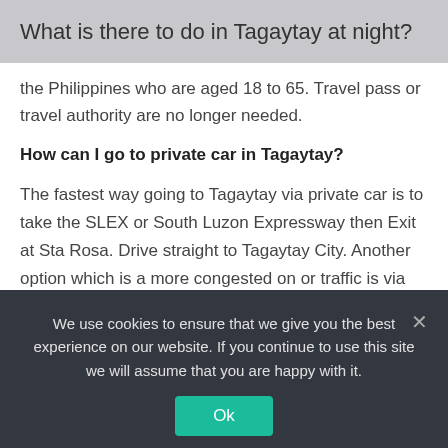What is there to do in Tagaytay at night?
the Philippines who are aged 18 to 65. Travel pass or travel authority are no longer needed.
How can I go to private car in Tagaytay?
The fastest way going to Tagaytay via private car is to take the SLEX or South Luzon Expressway then Exit at Sta Rosa. Drive straight to Tagaytay City. Another option which is a more congested on or traffic is via the Emilio Aguinaldo Highway.
We use cookies to ensure that we give you the best experience on our website. If you continue to use this site we will assume that you are happy with it.